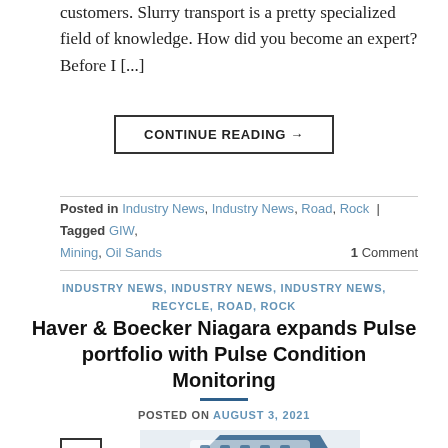customers. Slurry transport is a pretty specialized field of knowledge. How did you become an expert? Before I [...]
CONTINUE READING →
Posted in Industry News, Industry News, Road, Rock | Tagged GIW, Mining, Oil Sands  1 Comment
INDUSTRY NEWS, INDUSTRY NEWS, INDUSTRY NEWS, RECYCLE, ROAD, ROCK
Haver & Boecker Niagara expands Pulse portfolio with Pulse Condition Monitoring
POSTED ON AUGUST 3, 2021
[Figure (photo): Partial photo of a machine or device with blue and white colors, partially visible at the bottom of the page]